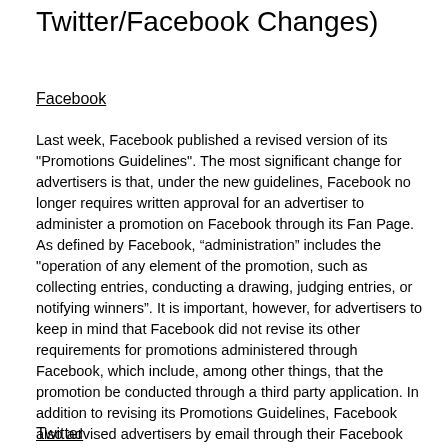Twitter/Facebook Changes)
Facebook
Last week, Facebook published a revised version of its "Promotions Guidelines". The most significant change for advertisers is that, under the new guidelines, Facebook no longer requires written approval for an advertiser to administer a promotion on Facebook through its Fan Page. As defined by Facebook, “administration” includes the "operation of any element of the promotion, such as collecting entries, conducting a drawing, judging entries, or notifying winners". It is important, however, for advertisers to keep in mind that Facebook did not revise its other requirements for promotions administered through Facebook, which include, among other things, that the promotion be conducted through a third party application. In addition to revising its Promotions Guidelines, Facebook also advised advertisers by email through their Facebook Representatives, that it has lifted its minimum spend threshold requirements. Advertisers will now no longer need to spend a minimum amount on advertising on Facebook to administer a promotion on Facebook. This, coupled with the fact that approval is no longer required, will allow advertisers greater freedom to launch promotions administered on Facebook.
Twitter